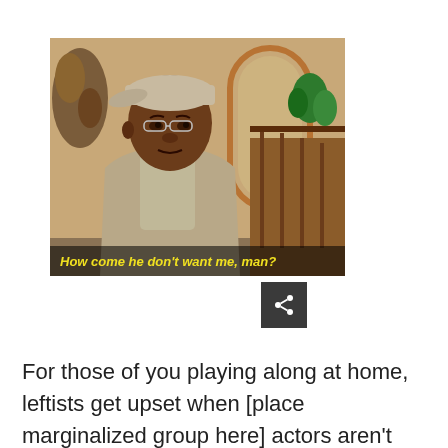[Figure (photo): Screenshot from a TV show (The Fresh Prince of Bel-Air) showing a young man wearing a backwards cap and casual clothing, with a subtitle at the bottom reading 'How come he don't want me, man?']
[Figure (screenshot): Dark gray share button with a share icon (circle with branches)]
For those of you playing along at home, leftists get upset when [place marginalized group here] actors aren't cast in remakes of popular movies. They also get upset when white men get cast in anything